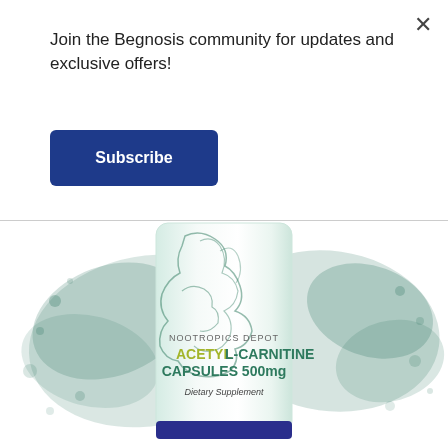Join the Begnosis community for updates and exclusive offers!
Subscribe
[Figure (photo): Product photo of Nootropics Depot Acetyl L-Carnitine Capsules 500mg Dietary Supplement bottle with teal powder splash in the background]